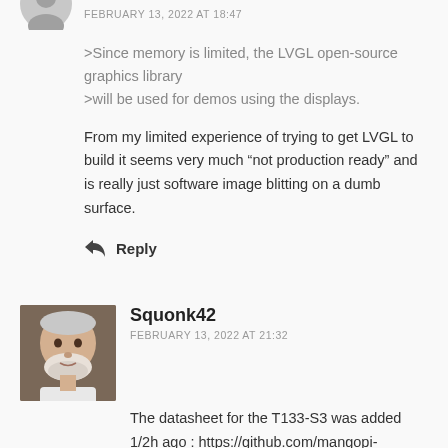>Since memory is limited, the LVGL open-source graphics library
>will be used for demos using the displays.
From my limited experience of trying to get LVGL to build it seems very much “not production ready” and is really just software image blitting on a dumb surface.
Reply
Squonk42
FEBRUARY 13, 2022 AT 21:32
The datasheet for the T133-S3 was added 1/2h ago : https://github.com/mangopi-sbc/MQ-Dual/blob/main/T113-S3_Datasheet_V1.2.pdf
Reply